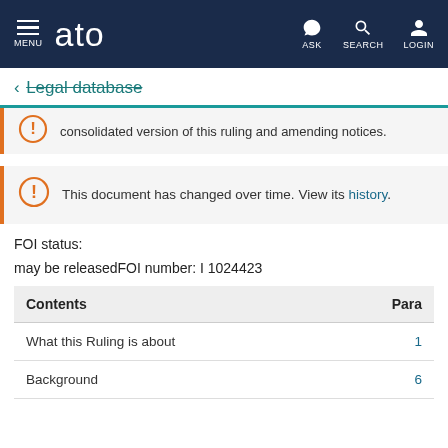MENU | ato | ASK | SEARCH | LOGIN
← Legal database
consolidated version of this ruling and amending notices.
This document has changed over time. View its history.
FOI status:
may be releasedFOI number: I 1024423
| Contents | Para |
| --- | --- |
| What this Ruling is about | 1 |
| Background | 6 |